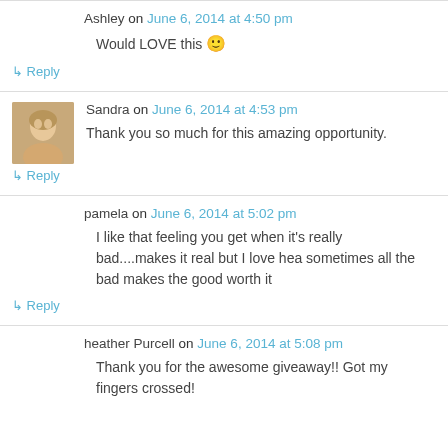Ashley on June 6, 2014 at 4:50 pm
Would LOVE this 🙂
↳ Reply
Sandra on June 6, 2014 at 4:53 pm
Thank you so much for this amazing opportunity.
↳ Reply
pamela on June 6, 2014 at 5:02 pm
I like that feeling you get when it's really bad....makes it real but I love hea sometimes all the bad makes the good worth it
↳ Reply
heather Purcell on June 6, 2014 at 5:08 pm
Thank you for the awesome giveaway!! Got my fingers crossed!